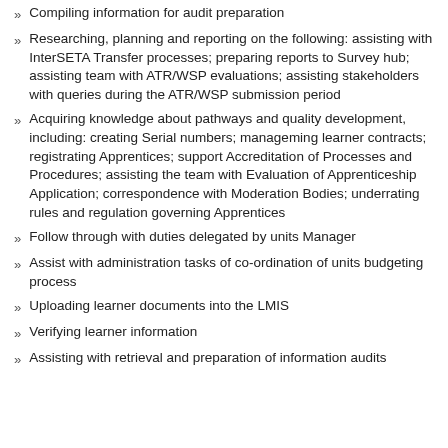Compiling information for audit preparation
Researching, planning and reporting on the following: assisting with InterSETA Transfer processes; preparing reports to Survey hub; assisting team with ATR/WSP evaluations; assisting stakeholders with queries during the ATR/WSP submission period
Acquiring knowledge about pathways and quality development, including: creating Serial numbers; manageming learner contracts; registrating Apprentices; support Accreditation of Processes and Procedures; assisting the team with Evaluation of Apprenticeship Application; correspondence with Moderation Bodies; underrating rules and regulation governing Apprentices
Follow through with duties delegated by units Manager
Assist with administration tasks of co-ordination of units budgeting process
Uploading learner documents into the LMIS
Verifying learner information
Assisting with retrieval and preparation of information audits